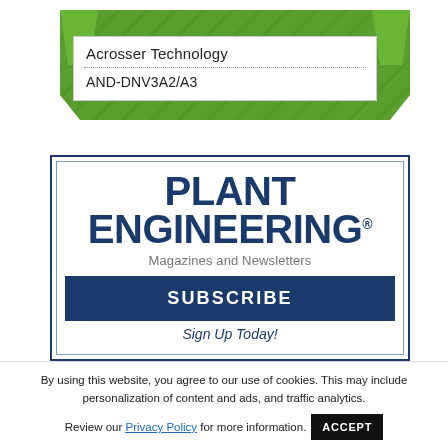Acrosser Technology
AND-DNV3A2/A3
[Figure (logo): Plant Engineering magazine logo with bold dark blue text reading PLANT ENGINEERING with registered trademark symbol]
Magazines and Newsletters
SUBSCRIBE
Sign Up Today!
By using this website, you agree to our use of cookies. This may include personalization of content and ads, and traffic analytics. Review our Privacy Policy for more information.
ACCEPT